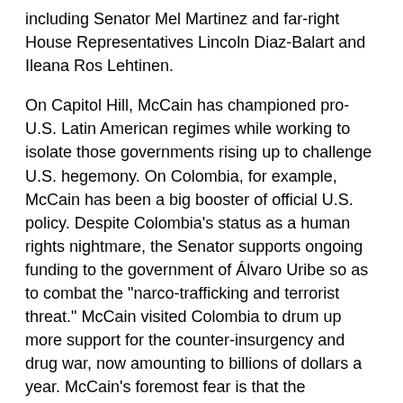including Senator Mel Martinez and far-right House Representatives Lincoln Diaz-Balart and Ileana Ros Lehtinen.
On Capitol Hill, McCain has championed pro-U.S. Latin American regimes while working to isolate those governments rising up to challenge U.S. hegemony. On Colombia, for example, McCain has been a big booster of official U.S. policy. Despite Colombia's status as a human rights nightmare, the Senator supports ongoing funding to the government of Álvaro Uribe so as to combat the "narco-trafficking and terrorist threat." McCain visited Colombia to drum up more support for the counter-insurgency and drug war, now amounting to billions of dollars a year. McCain's foremost fear is that the Democrats may turn off the money flow to Uribe. "You don't build strong alliances by turning your back on friends," he has said.
McCain seeks to confront countries such as Venezuela and Cuba by encouraging U.S. partnership with sympathetic regimes that support U.S.-style free trade. "We need to build on